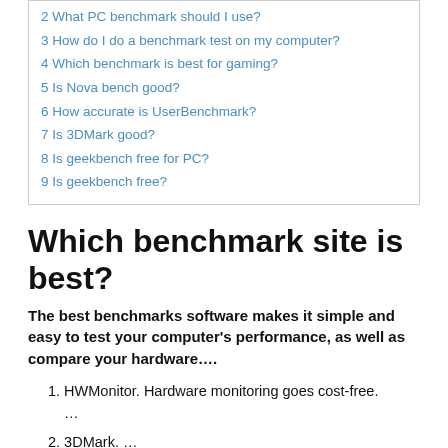2 What PC benchmark should I use?
3 How do I do a benchmark test on my computer?
4 Which benchmark is best for gaming?
5 Is Nova bench good?
6 How accurate is UserBenchmark?
7 Is 3DMark good?
8 Is geekbench free for PC?
9 Is geekbench free?
Which benchmark site is best?
The best benchmarks software makes it simple and easy to test your computer's performance, as well as compare your hardware....
1. HWMonitor. Hardware monitoring goes cost-free. ...
2. 3DMark. ...